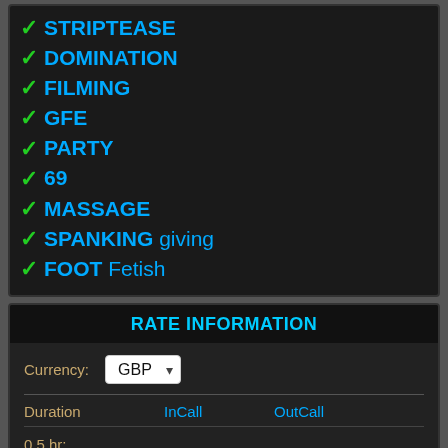✓ STRIPTEASE
✓ DOMINATION
✓ FILMING
✓ GFE
✓ PARTY
✓ 69
✓ MASSAGE
✓ SPANKING giving
✓ FOOT Fetish
RATE INFORMATION
| Duration | InCall | OutCall |
| --- | --- | --- |
| 0.5 hr: |  |  |
| 1 hr: | 150 | 200 |
| 1.5 hrs: | 250 | 300 |
| 2 hrs: | 300 | 350 |
| Extra hr: | 150 | 150 |